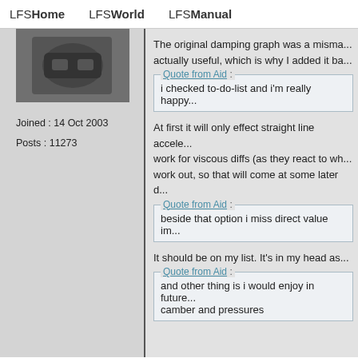LFSHome   LFSWorld   LFSManual
[Figure (photo): User avatar photo showing a dark automotive part (car floor mat or similar)]
Joined : 14 Oct 2003
Posts : 11273
The original damping graph was a misma... actually useful, which is why I added it ba...
Quote from Aid : i checked to-do-list and i'm really happy...
At first it will only effect straight line accele... work for viscous diffs (as they react to wh... work out, so that will come at some later d...
Quote from Aid : beside that option i miss direct value im...
It should be on my list. It's in my head as...
Quote from Aid : and other thing is i would enjoy in future... camber and pressures